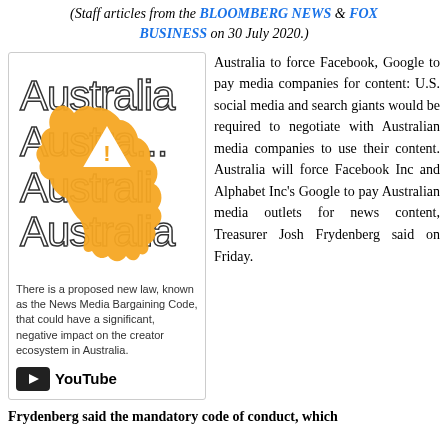(Staff articles from the BLOOMBERG NEWS & FOX BUSINESS on 30 July 2020.)
[Figure (illustration): YouTube / Australia image showing map of Australia in orange with a warning triangle icon, overlaid with 'Australia' text repeated. Below: text about News Media Bargaining Code and YouTube logo.]
Australia to force Facebook, Google to pay media companies for content: U.S. social media and search giants would be required to negotiate with Australian media companies to use their content. Australia will force Facebook Inc and Alphabet Inc's Google to pay Australian media outlets for news content, Treasurer Josh Frydenberg said on Friday.
Frydenberg said the mandatory code of conduct, which